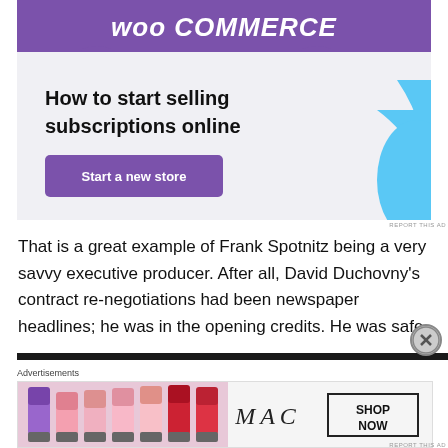[Figure (illustration): WooCommerce advertisement banner with purple header showing WooCommerce logo, green and blue decorative shapes, headline 'How to start selling subscriptions online', and a purple 'Start a new store' button]
REPORT THIS AD
That is a great example of Frank Spotnitz being a very savvy executive producer. After all, David Duchovny's contract re-negotiations had been newspaper headlines; he was in the opening credits. He was safe.
Advertisements
[Figure (illustration): MAC Cosmetics advertisement showing colorful lipsticks on the left, MAC logo in the center, and a 'SHOP NOW' box on the right]